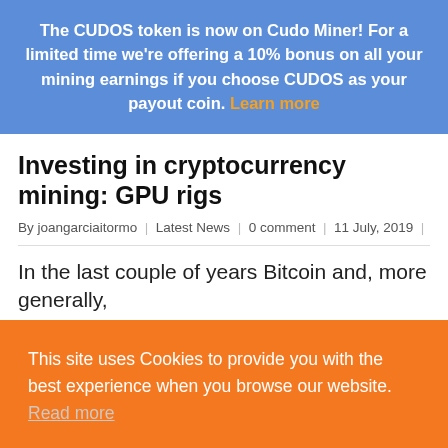The CUDOS token is now on Cudo Miner! For a limited time we're offering a 10% bonus on all your mining earnings if you choose CUDOS as your payout coin. Learn more
Investing in cryptocurrency mining: GPU rigs
By joangarciaitormo | Latest News | 0 comment | 11 July, 2019 |
In the last couple of years Bitcoin and, more generally,
This site uses Cookies to provide you with the best experience when you browse our website. Read more
✓  Accept all cookies
Read more →